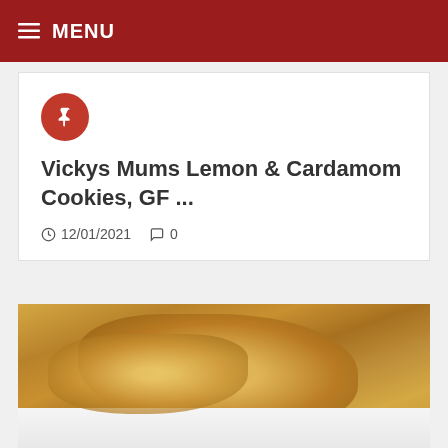≡ MENU
Vickys Mums Lemon & Cardamom Cookies, GF ...
12/01/2021  0
[Figure (photo): Close-up photo of a glazed or caramelized food item (likely cookies or a dessert) with a golden-orange sticky coating, served on a white plate]